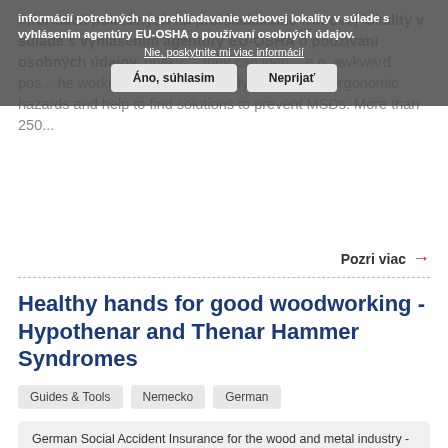informácií potrebných na prehliadavanie webovej lokality v súlade s vyhlásením agentúry EU-OSHA o používaní osobných údajov. úpaky ... they can iden... e.g. awkward pos... he workplaces, systematically analyse the ergonomic hazards and help to find solutions to prevent MSDs. More than 250...
Nie, poskytnite mi viac informácií
Áno, súhlasim
Neprijať
Pozri viac →
Healthy hands for good woodworking - Hypothenar and Thenar Hammer Syndromes
Guides & Tools
Nemecko
German
German Social Accident Insurance for the wood and metal industry -BGHM
Howthe...